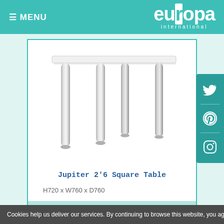≡ MENU   europa international
[Figure (photo): Product photo of Jupiter 2'6 Square Table with white tabletop and silver/chrome cylindrical legs]
Jupiter 2'6 Square Table
H720 x W760 x D760
TB10 - £48.00
Cookies help us deliver our services. By continuing to browse this website, you agree to o